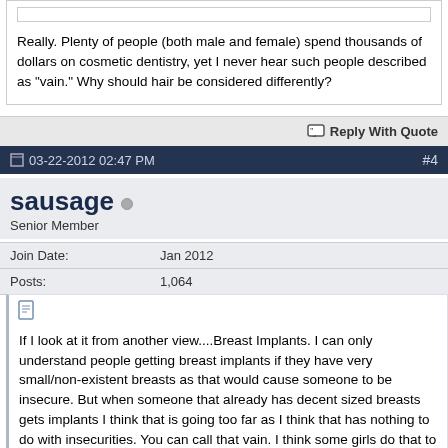Really. Plenty of people (both male and female) spend thousands of dollars on cosmetic dentistry, yet I never hear such people described as "vain." Why should hair be considered differently?
Reply With Quote
03-22-2012 02:47 PM  #4
sausage
Senior Member
| Join Date: | Jan 2012 |
| Posts: | 1,064 |
If I look at it from another view....Breast Implants. I can only understand people getting breast implants if they have very small/non-existent breasts as that would cause someone to be insecure. But when someone that already has decent sized breasts gets implants I think that is going too far as I think that has nothing to do with insecurities. You can call that vain. I think some girls do that to become glamour models or to get more attention from guys. NOTHING to do with insecurities.

But when someone worry's or feels like they need to do